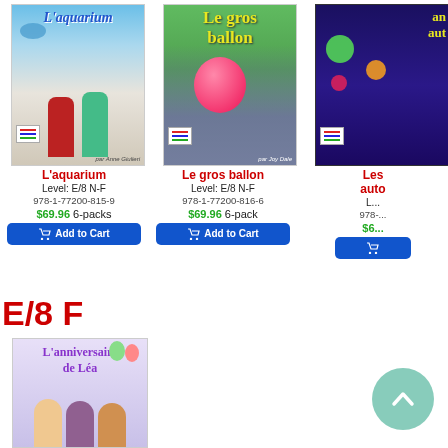[Figure (illustration): Book cover: L'aquarium, two children standing outside, by Anne Giulieri, publisher logo]
L'aquarium
Level: E/8 N-F
978-1-77200-815-9
$69.96 6-packs
Add to Cart
[Figure (illustration): Book cover: Le gros ballon, girl holding large pink balloon, by Joy Dale, publisher logo]
Le gros ballon
Level: E/8 N-F
978-1-77200-816-6
$69.96 6-pack
Add to Cart
[Figure (illustration): Book cover: Les ... auto... (partially visible), dark blue/space themed cover, publisher logo]
Les auto
E/8 F
[Figure (illustration): Book cover: L'anniversaire de Léa, illustrated children's birthday party book cover]
[Figure (illustration): Scroll-to-top circular button with upward chevron icon]